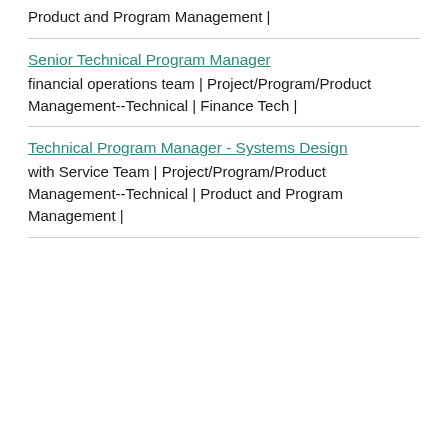Product and Program Management |
Senior Technical Program Manager
financial operations team | Project/Program/Product Management--Technical | Finance Tech |
Technical Program Manager - Systems Design
with Service Team | Project/Program/Product Management--Technical | Product and Program Management |